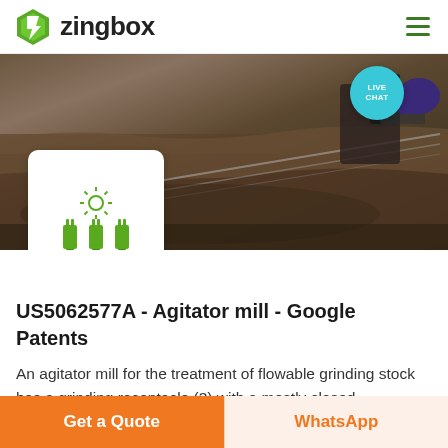zingbox
[Figure (screenshot): Zingbox website screenshot showing header with green logo, hamburger menu, hero image of excavation/construction site, live chat badge, and IoT device icon card]
US5062577A - Agitator mill - Google Patents
An agitator mill for the treatment of flowable grinding stock has a grinding receptacle (3) with a mostly closed